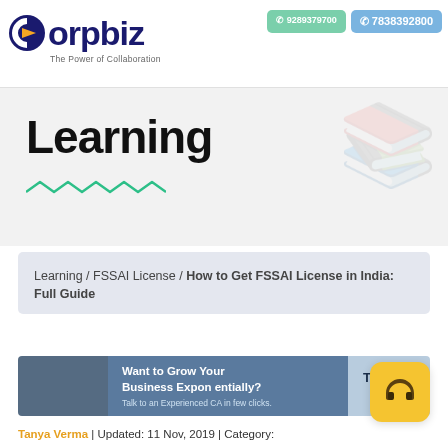Corpbiz | The Power of Collaboration | 9289379700 | 7838392800
Learning
Learning / FSSAI License / How to Get FSSAI License in India: Full Guide
[Figure (infographic): CTA banner: Want to Grow Your Business Exponentially? Talk to an Experienced CA in few clicks. | Talk to a CA]
Tanya Verma | Updated: 11 Nov, 2019 | Category: